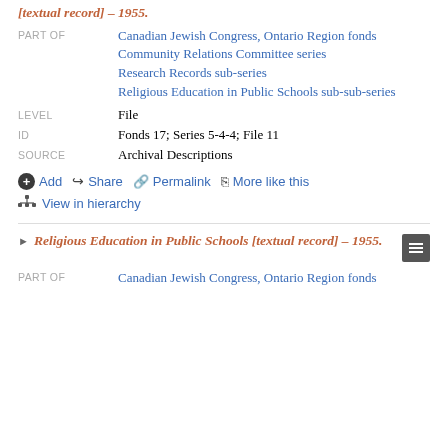[textual record] – 1955.
PART OF: Canadian Jewish Congress, Ontario Region fonds; Community Relations Committee series; Research Records sub-series; Religious Education in Public Schools sub-sub-series
LEVEL: File
ID: Fonds 17; Series 5-4-4; File 11
SOURCE: Archival Descriptions
Add
Share
Permalink
More like this
View in hierarchy
Religious Education in Public Schools [textual record] – 1955.
PART OF: Canadian Jewish Congress, Ontario Region fonds